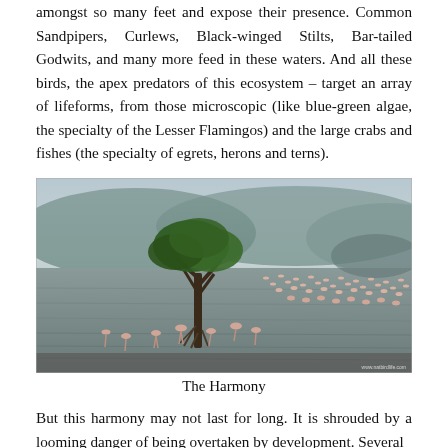amongst so many feet and expose their presence. Common Sandpipers, Curlews, Black-winged Stilts, Bar-tailed Godwits, and many more feed in these waters. And all these birds, the apex predators of this ecosystem – target an array of lifeforms, from those microscopic (like blue-green algae, the specialty of the Lesser Flamingos) and the large crabs and fishes (the specialty of egrets, herons and terns).
[Figure (photo): A wide landscape photograph showing a large flock of flamingos wading in shallow water across a vast mudflat. A solitary mangrove tree stands in the foreground center. Hills are visible in the misty background. The scene conveys harmony of nature.]
The Harmony
But this harmony may not last for long. It is shrouded by a looming danger of being overtaken by development. Several